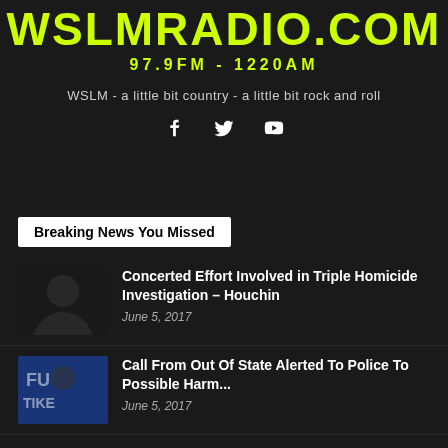WSLMRADIO.COM
97.9FM - 1220AM
WSLM - a little bit country - a little bit rock and roll
[Figure (infographic): Social media icons: Facebook, Twitter, YouTube]
Breaking News You Missed
[Figure (photo): Thumbnail photo of a person in a suit]
Concerted Effort Involved in Triple Homicide Investigation – Houchin
June 5, 2017
[Figure (photo): Thumbnail photo with blue background and partial text visible]
Call From Out Of State Alerted To Police To Possible Harm...
June 5, 2017